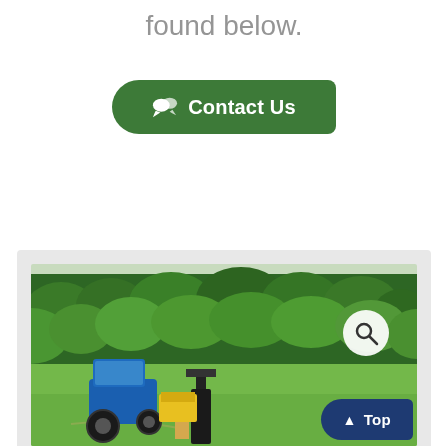found below.
[Figure (other): Green 'Contact Us' button with speech bubble icon, dark green rounded rectangle]
[Figure (photo): Photo of a blue tractor on a green grassy field with dense trees in background; a person and farm equipment visible; magnify icon overlay; Top button in dark blue at bottom right]